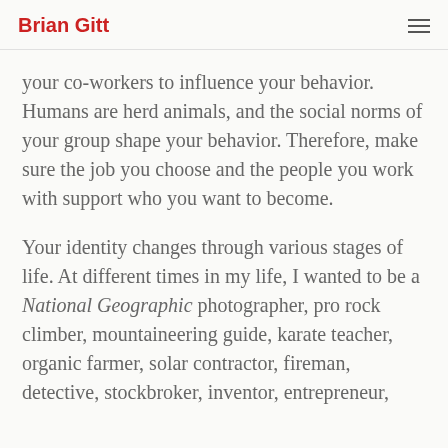Brian Gitt
your co-workers to influence your behavior. Humans are herd animals, and the social norms of your group shape your behavior. Therefore, make sure the job you choose and the people you work with support who you want to become.
Your identity changes through various stages of life. At different times in my life, I wanted to be a National Geographic photographer, pro rock climber, mountaineering guide, karate teacher, organic farmer, solar contractor, fireman, detective, stockbroker, inventor, entrepreneur,